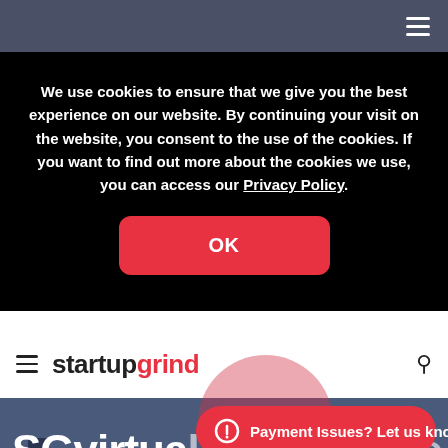Navigation bar with hamburger menu
We use cookies to ensure that we give you the best experience on our website. By continuing your visit on the website, you consent to the use of the cookies. If you want to find out more about the cookies we use, you can access our Privacy Policy.
OK
startupgrind
SGvirtual Conference
We are hosting Lucile
Payment Issues? Let us know